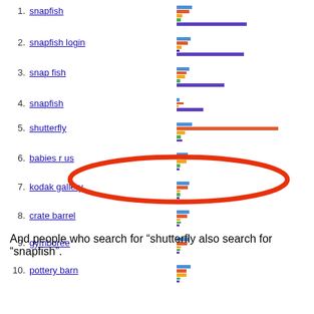1. snapfish
2. snapfish login
3. snap fish
4. snapfish
5. shutterfly
6. babies r us
7. kodak gallery
8. crate barrel
9. gymboree
10. pottery barn
[Figure (infographic): Red oval circle highlighting row 5 (shutterfly) with a long orange/red bar extending to the right]
And people who search for “shutterfly also search for “snapfish”.